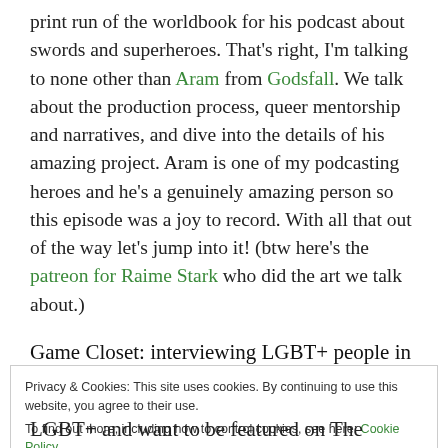print run of the worldbook for his podcast about swords and superheroes. That's right, I'm talking to none other than Aram from Godsfall. We talk about the production process, queer mentorship and narratives, and dive into the details of his amazing project. Aram is one of my podcasting heroes and he's a genuinely amazing person so this episode was a joy to record. With all that out of the way let's jump into it! (btw here's the patreon for Raime Stark who did the art we talk about.)
Game Closet: interviewing LGBT+ people in
Privacy & Cookies: This site uses cookies. By continuing to use this website, you agree to their use.
To find out more, including how to control cookies, see here: Cookie Policy
Close and accept
LGBT+ and want to be featured on The Game